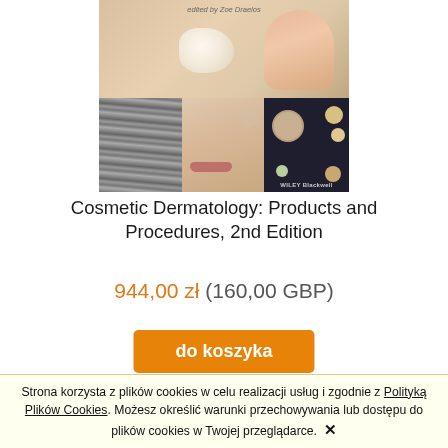[Figure (photo): Book cover of Cosmetic Dermatology: Products and Procedures, 2nd Edition published by Wiley Blackwell, edited by Zoe Draelos. Shows close-up photos of cosmetic products and procedures including a cream, hair strands, facial skin/lips, and powder compacts.]
Cosmetic Dermatology: Products and Procedures, 2nd Edition
944,00 zł (160,00 GBP)
do koszyka
Strona korzysta z plików cookies w celu realizacji usług i zgodnie z Polityką Plików Cookies. Możesz określić warunki przechowywania lub dostępu do plików cookies w Twojej przeglądarce.